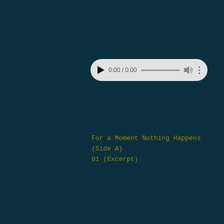[Figure (screenshot): Audio player control showing 0:00 / 0:00 with play button, progress bar, volume icon, and menu dots]
For a Moment Nothing Happens (Side A)
01 (Excerpt)
[Figure (screenshot): Audio player control showing 0:00 / 0:00 with play button, progress bar, volume icon, and menu dots]
For a Moment Nothing Happens (Side A)
02 (Excerpt)
[Figure (screenshot): Audio player control showing 0:00 / 0:00 with play button, progress bar, volume icon, and menu dots]
For a Moment Nothing Happens (Side B)